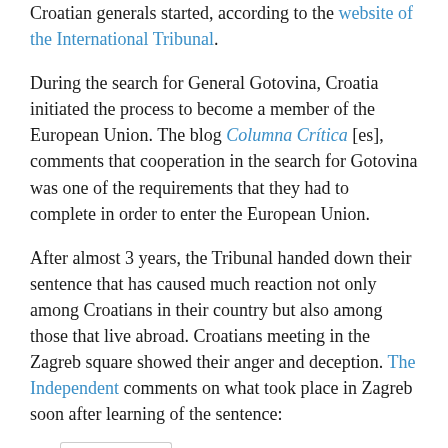Croatian generals started, according to the website of the International Tribunal.
During the search for General Gotovina, Croatia initiated the process to become a member of the European Union. The blog Columna Crítica [es], comments that cooperation in the search for Gotovina was one of the requirements that they had to complete in order to enter the European Union.
After almost 3 years, the Tribunal handed down their sentence that has caused much reaction not only among Croatians in their country but also among those that live abroad. Croatians meeting in the Zagreb square showed their anger and deception. The Independent comments on what took place in Zagreb soon after learning of the sentence:
Translation | Original Quote